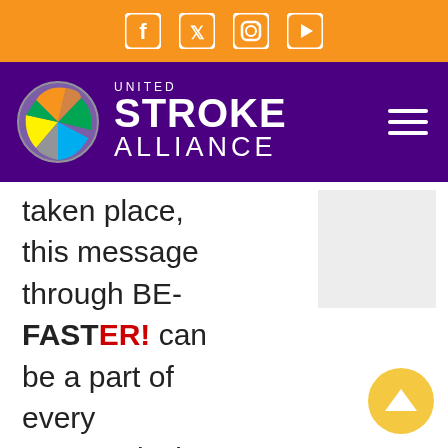Social media icons: Facebook, Twitter, Instagram, YouTube
[Figure (logo): United Stroke Alliance logo with colorful globe and purple navigation bar with hamburger menu]
taken place, this message through BE-FASTER! can be a part of every community in America while generating